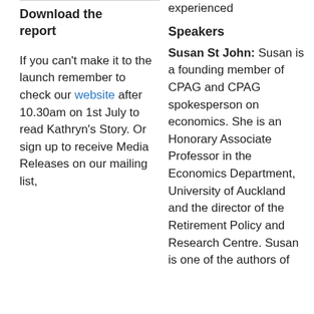Download the report
If you can't make it to the launch remember to check our website after 10.30am on 1st July to read Kathryn's Story. Or sign up to receive Media Releases on our mailing list,
experienced
Speakers
Susan St John: Susan is a founding member of CPAG and CPAG spokesperson on economics. She is an Honorary Associate Professor in the Economics Department, University of Auckland and the director of the Retirement Policy and Research Centre. Susan is one of the authors of